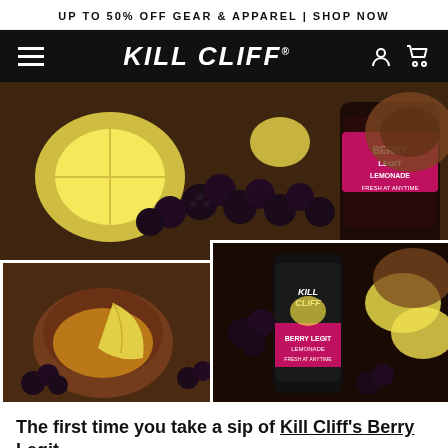UP TO 50% OFF GEAR & APPAREL | SHOP NOW
[Figure (logo): Kill Cliff brand navigation bar with hamburger menu on left, KILL CLIFF logo in center in white italic bold text on black background, user account and cart icons on right]
[Figure (photo): Product photo collage showing Kill Cliff Berry Legit Lemonade energy drink cans surrounded by blackberries, lemon slices, and wooden bowls. Top image shows a dark jar with Berry Lemonade label among blackberries and lemons. Bottom left shows a close-up of a glass with lemon wedges. Bottom right shows a Kill Cliff energy drink can with berry lemon design surrounded by fruit.]
The first time you take a sip of Kill Cliff's Berry Legit